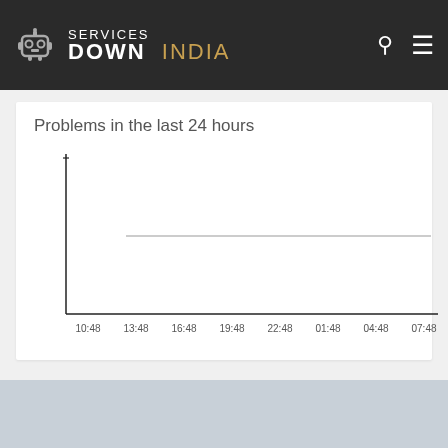SERVICES DOWN INDIA
Problems in the last 24 hours
[Figure (continuous-plot): Line chart showing problems over the last 24 hours. The chart appears nearly empty with a flat baseline, indicating no significant problems. A light gray horizontal reference line runs across the middle of the chart area. The x-axis shows time labels: 10:48, 13:48, 16:48, 19:48, 22:48, 01:48, 04:48, 07:48.]